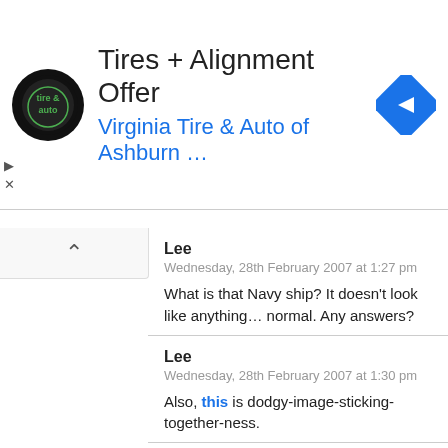[Figure (advertisement): Ad banner for Virginia Tire & Auto of Ashburn with logo and navigation icon. Title: Tires + Alignment Offer. Subtitle: Virginia Tire & Auto of Ashburn …]
Lee
Wednesday, 28th February 2007 at 1:27 pm
What is that Navy ship? It doesn't look like anything… normal. Any answers?
Lee
Wednesday, 28th February 2007 at 1:30 pm
Also, this is dodgy-image-sticking-together-ness.
Todd
Wednesday, 28th February 2007 at 1:45 pm
This looks painted on:
https://www.googlesightseeing.com/maps?p=&c=&t=k&hl=en&ll=-33.864286,151.250245&z=22